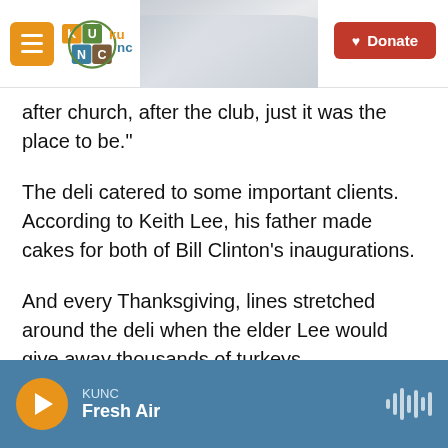KUNC | Donate
after church, after the club, just it was the place to be."
The deli catered to some important clients. According to Keith Lee, his father made cakes for both of Bill Clinton's inaugurations.
And every Thanksgiving, lines stretched around the deli when the elder Lee would give away thousands of turkeys.
After nearly 35 years in business, Lee retired and closed the deli.
KUNC Fresh Air